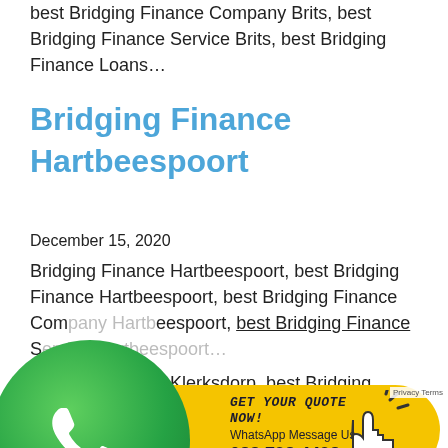Bridging Finance Brits, best Bridging Finance Brits, best Bridging Finance Company Brits, best Bridging Finance Service Brits, best Bridging Finance Loans…
Bridging Finance Hartbeespoort
December 15, 2020
Bridging Finance Hartbeespoort, best Bridging Finance Hartbeespoort, best Bridging Finance Company Hartbeespoort, best Bridging Finance Service Hartbeespoort…
[Figure (infographic): WhatsApp call-to-action button with green WhatsApp logo circle on left, yellow rounded rectangle with text 'GET your QUOTE now! WhatsApp Message Us 083 798 4498', dashed underline, and cursor/click icon on right]
Bridging Finance Klerksdorp, best Bridging Finance Klerksdorp, best Bridging Finance Company